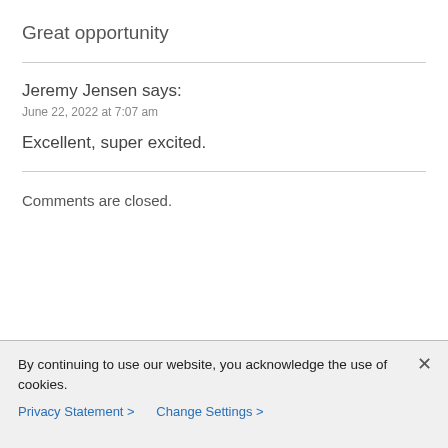Great opportunity
Jeremy Jensen says:
June 22, 2022 at 7:07 am
Excellent, super excited.
Comments are closed.
By continuing to use our website, you acknowledge the use of cookies.
Privacy Statement > Change Settings >